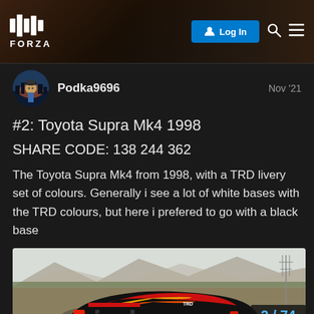FORZA — Log In
Podka9696    Nov '21
#2: Toyota Supra Mk4 1998
SHARE CODE: 138 244 362
The Toyota Supra Mk4 from 1998, with a TRD livery set of colours. Generally i see a lot of white bases with the TRD colours, but here i prefered to go with a black base
[Figure (photo): Rear view of a red and yellow Toyota Supra Mk4 with TRD livery on a desert road, with mountains in the background. FALKEN sponsor text visible on rear tire. Page indicator '2 / 74' shown in bottom right.]